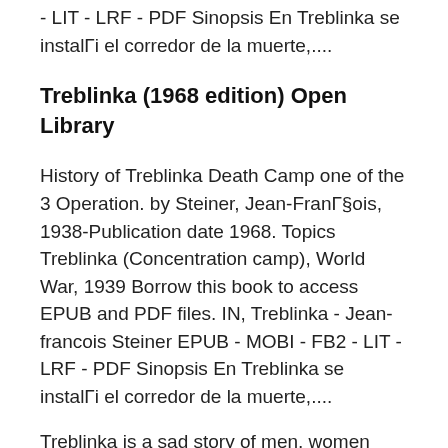- LIT - LRF - PDF Sinopsis En Treblinka se instalГi el corredor de la muerte,....
Treblinka (1968 edition) Open Library
History of Treblinka Death Camp one of the 3 Operation. by Steiner, Jean-FranГ§ois, 1938-Publication date 1968. Topics Treblinka (Concentration camp), World War, 1939 Borrow this book to access EPUB and PDF files. IN, Treblinka - Jean-francois Steiner EPUB - MOBI - FB2 - LIT - LRF - PDF Sinopsis En Treblinka se instalГi el corredor de la muerte,....
Treblinka is a sad story of men, women